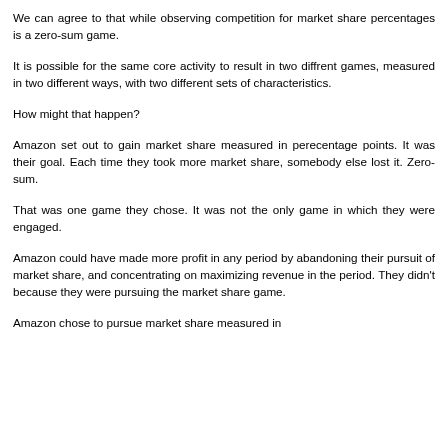We can agree to that while observing competition for market share percentages is a zero-sum game.
It is possible for the same core activity to result in two diffrent games, measured in two different ways, with two different sets of characteristics.
How might that happen?
Amazon set out to gain market share measured in perecentage points. It was their goal. Each time they took more market share, somebody else lost it. Zero-sum.
That was one game they chose. It was not the only game in which they were engaged.
Amazon could have made more profit in any period by abandoning their pursuit of market share, and concentrating on maximizing revenue in the period. They didn't because they were pursuing the market share game.
Amazon chose to pursue market share measured in